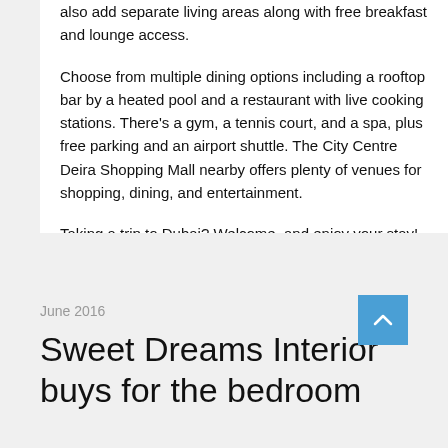also add separate living areas along with free breakfast and lounge access.

Choose from multiple dining options including a rooftop bar by a heated pool and a restaurant with live cooking stations. There's a gym, a tennis court, and a spa, plus free parking and an airport shuttle. The City Centre Deira Shopping Mall nearby offers plenty of venues for shopping, dining, and entertainment.

Taking a trip to Dubai? Welcome, and enjoy your stay!
June 2016
Sweet Dreams Interior buys for the bedroom